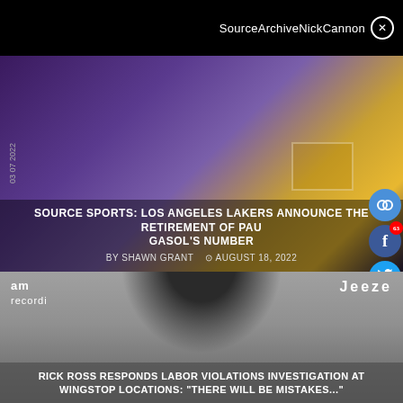SourceArchiveNickCannon ✕
[Figure (screenshot): A Los Angeles Lakers basketball image showing a player wearing jersey number 16, purple and gold colors, with a basketball court background]
SOURCE SPORTS: LOS ANGELES LAKERS ANNOUNCE THE RETIREMENT OF PAU GASOL'S NUMBER
BY SHAWN GRANT   ⊙ AUGUST 18, 2022
[Figure (photo): Rick Ross wearing sunglasses at a recording event, with 'am recordi' and 'Jeezy' text visible in background]
RICK ROSS RESPONDS LABOR VIOLATIONS INVESTIGATION AT WINGSTOP LOCATIONS: "THERE WILL BE MISTAKES..."